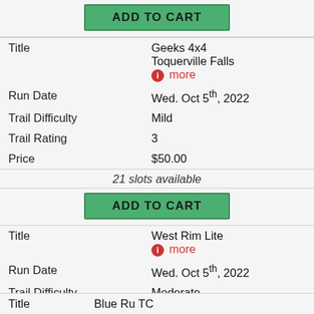ADD TO CART (top button)
| Field | Value |
| --- | --- |
| Title | Geeks 4x4 Toquerville Falls |
| Run Date | Wed. Oct 5th, 2022 |
| Trail Difficulty | Mild |
| Trail Rating | 3 |
| Price | $50.00 |
21 slots available
ADD TO CART
| Field | Value |
| --- | --- |
| Title | West Rim Lite |
| Run Date | Wed. Oct 5th, 2022 |
| Trail Difficulty | Moderate |
| Trail Rating | 4 |
| Price | $50.00 |
29 slots available
ADD TO CART
Title  Blue Ru TC